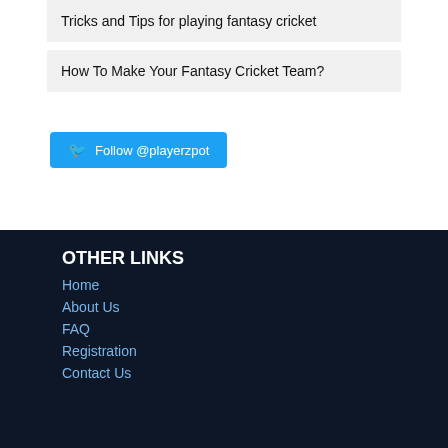Tricks and Tips for playing fantasy cricket
How To Make Your Fantasy Cricket Team?
Follow @playerzpot
OTHER LINKS
Home
About Us
FAQ
Registration
Contact Us